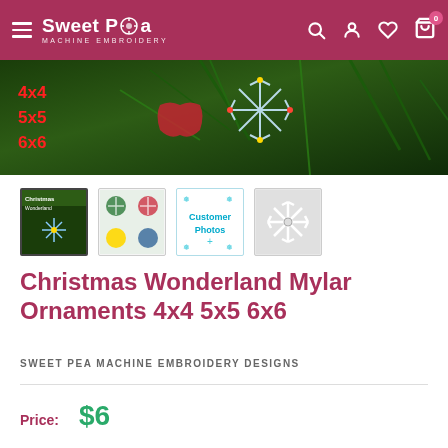Sweet Pea Machine Embroidery — navigation bar
[Figure (photo): Christmas ornament hero image showing colorful mylar snowflake ornaments on pine branches with size labels 4x4 5x5 6x6 in red on left]
[Figure (photo): Thumbnail 1 (selected): product box cover with snowflake ornaments]
[Figure (photo): Thumbnail 2: multiple colorful ornaments arranged]
[Figure (illustration): Thumbnail 3: Customer Photos label with snowflake decorations]
[Figure (photo): Thumbnail 4: white snowflake ornament on plain background]
Christmas Wonderland Mylar Ornaments 4x4 5x5 6x6
SWEET PEA MACHINE EMBROIDERY DESIGNS
Price:  $6